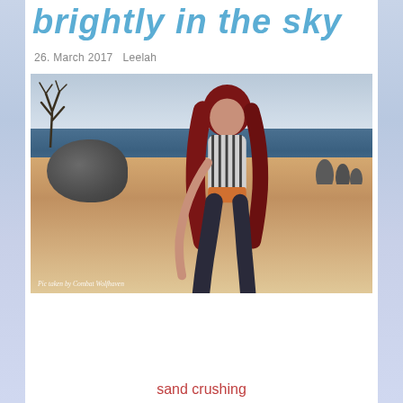brightly in the sky
26. March 2017   Leelah
[Figure (photo): A 3D rendered female avatar with long red hair, wearing a striped swimsuit and dark boots, sitting on a sandy beach with a large boulder to the left, ocean and cloudy sky in the background. Watermark reads: 'Pic taken by Combat Wolfhaven']
sand crushing